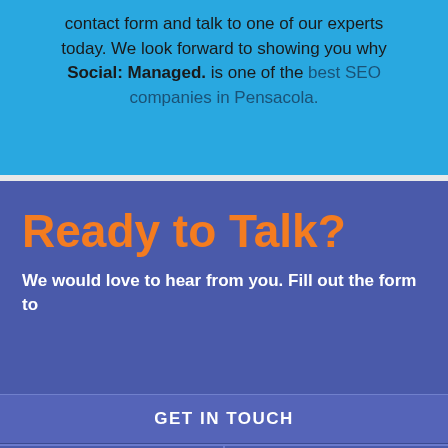contact form and talk to one of our experts today. We look forward to showing you why Social: Managed. is one of the best SEO companies in Pensacola.
Ready to Talk?
We would love to hear from you. Fill out the form to
GET IN TOUCH
Call
Schedule